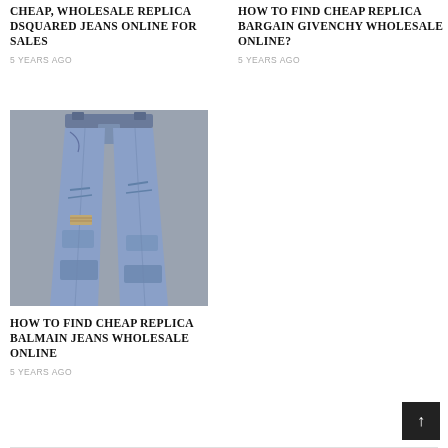CHEAP, WHOLESALE REPLICA DSQUARED JEANS ONLINE FOR SALES
5 YEARS AGO
HOW TO FIND CHEAP REPLICA BARGAIN GIVENCHY WHOLESALE ONLINE?
5 YEARS AGO
[Figure (photo): Photo of distressed light-wash skinny jeans laid flat on a gray background]
HOW TO FIND CHEAP REPLICA BALMAIN JEANS WHOLESALE ONLINE
5 YEARS AGO